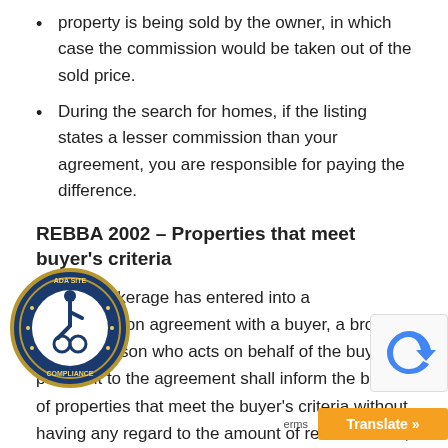property is being sold by the owner, in which case the commission would be taken out of the sold price.
During the search for homes, if the listing states a lesser commission than your agreement, you are responsible for paying the difference.
REBBA 2002 – Properties that meet buyer's criteria
19. If a brokerage has entered into a representation agreement with a buyer, a broker or salesperson who acts on behalf of the buyer pursuant to the agreement shall inform the buyer of properties that meet the buyer's criteria without having any regard to the amount of remuneration, if any, to which the brokerage might be entitled. O. Reg. 5[…]9; O. Reg. 539/20, s. 4.
4: Do I understand the terms of the holdover clause in the BRA?